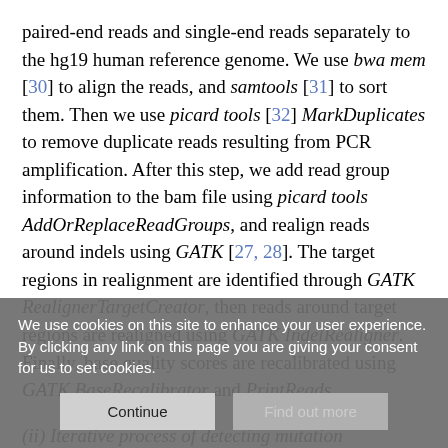paired-end reads and single-end reads separately to the hg19 human reference genome. We use bwa mem [30] to align the reads, and samtools [31] to sort them. Then we use picard tools [32] MarkDuplicates to remove duplicate reads resulting from PCR amplification. After this step, we add read group information to the bam file using picard tools AddOrReplaceReadGroups, and realign reads around indels using GATK [27, 28]. The target regions in realignment are identified through GATK RealignerTargetCreator, then reads around target regions are realigned using GATK IndelRealigner. Finally, base quality scores are recalibrated using GATK BaseRecalibrator and PrintReads.
(ii) Iterative process of detecting mutation candidates
We use cookies on this site to enhance your user experience. By clicking any link on this page you are giving your consent for us to set cookies.